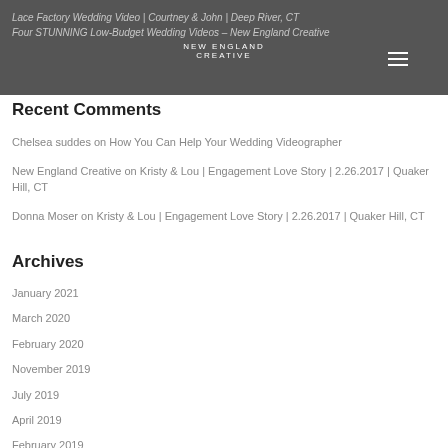Lace Factory Wedding Video | Courtney & John | Deep River, CT
NEW ENGLAND CREATIVE
Four STUNNING Low-Budget Wedding Videos – New England Creative
Recent Comments
Chelsea suddes on How You Can Help Your Wedding Videographer
New England Creative on Kristy & Lou | Engagement Love Story | 2.26.2017 | Quaker Hill, CT
Donna Moser on Kristy & Lou | Engagement Love Story | 2.26.2017 | Quaker Hill, CT
Archives
January 2021
March 2020
February 2020
November 2019
July 2019
April 2019
February 2019
January 2019
December 2018
November 2018